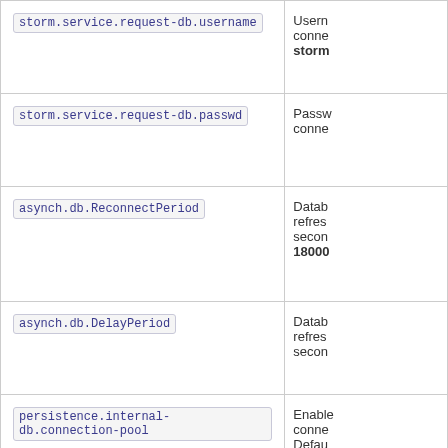| Property | Description |
| --- | --- |
| storm.service.request-db.username | Username for connecting to storm... |
| storm.service.request-db.passwd | Password for connecting... |
| asynch.db.ReconnectPeriod | Database refresh period in seconds. 18000 |
| asynch.db.DelayPeriod | Database refresh period in seconds... |
| persistence.internal-db.connection-pool | Enables connection pool. Default... |
| persistence.internal-db.connection-pool.maxActive | Database pool max connections... |